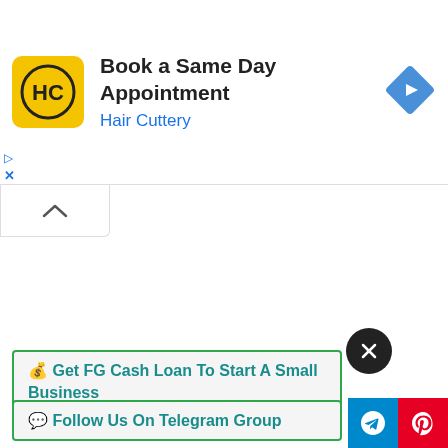[Figure (screenshot): Hair Cuttery advertisement banner: yellow logo with HC initials, text 'Book a Same Day Appointment / Hair Cuttery', blue navigation arrow icon on right.]
▷
✕
[Figure (screenshot): Collapse/up-arrow tab button below the ad banner.]
[Figure (screenshot): Black circle close (X) button.]
💰 Get FG Cash Loan To Start A Small Business
💬 Follow Us On Telegram Group
[Figure (screenshot): Blue Telegram share button at bottom right.]
[Figure (screenshot): Red Pinterest share button at bottom right.]